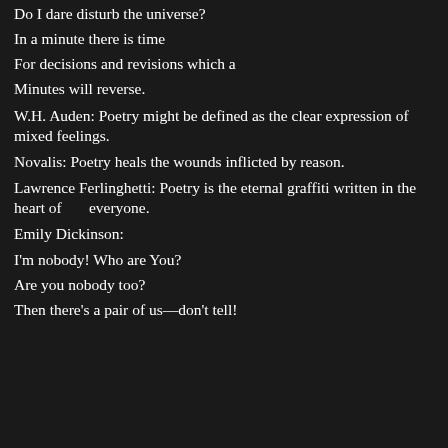Do I dare disturb the universe?
In a minute there is time
For decisions and revisions which a
Minutes will reverse.
W.H. Auden: Poetry might be defined as the clear expression of mixed feelings.
Novalis: Poetry heals the wounds inflicted by reason.
Lawrence Ferlinghetti: Poetry is the eternal graffiti written in the heart of       everyone.
Emily Dickinson:
I'm nobody! Who are You?
Are you nobody too?
Then there's a pair of us—don't tell!